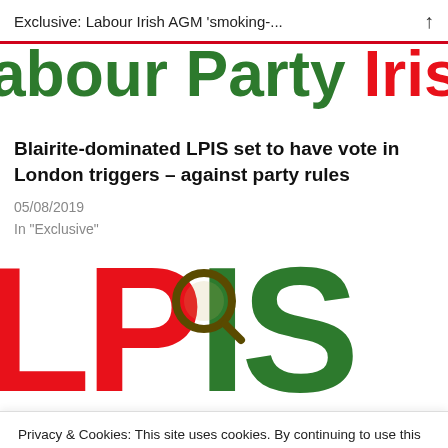Exclusive: Labour Irish AGM 'smoking-...
[Figure (logo): Labour Party Irish Society logo banner — partial view showing red and green bold text 'Labour Party Irish Society' cropped at right edge]
Blairite-dominated LPIS set to have vote in London triggers – against party rules
05/08/2019
In "Exclusive"
[Figure (logo): LPIS logo — large bold red 'L' and 'P', green 'I' and 'S' letters with a magnifying glass overlay. Partial letter visible at right.]
Privacy & Cookies: This site uses cookies. By continuing to use this website, you agree to their use.
To find out more, including how to control cookies, see here: Cookie Policy
Exclusive: NEC to investigate Labour Irish 'rigging'